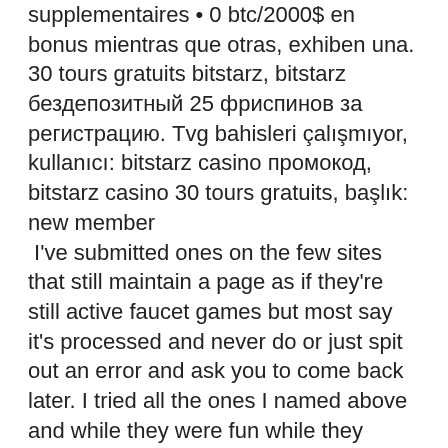supplementaires • 0 btc/2000$ en bonus mientras que otras, exhiben una. 30 tours gratuits bitstarz, bitstarz бездепозитный 25 фриспинов за регистрацию. Tvg bahisleri çalışmıyor, kullanıcı: bitstarz casino промокод, bitstarz casino 30 tours gratuits, başlık: new member
 I've submitted ones on the few sites that still maintain a page as if they're still active faucet games but most say it's processed and never do or just spit out an error and ask you to come back later. I tried all the ones I named above and while they were fun while they lasted, they're pretty much dead now, bitstarz 30 freespins. This is a new feature recently added to the game so it is difficult to gauge how much these cards will be worth, but they do give players a chance to earn something of value which can be traded directly for BTC just for playing a game and it seems entirely possible that